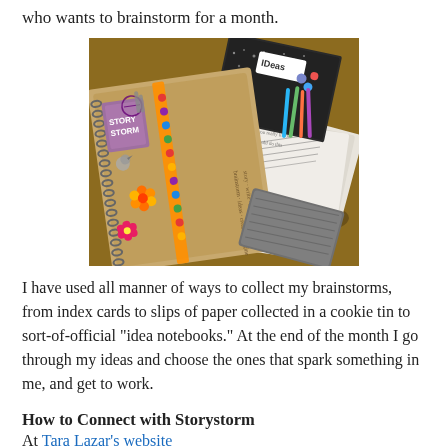who wants to brainstorm for a month.
[Figure (photo): A spiral notebook with decorative cover featuring stamps, flowers, and doodles, alongside a composition notebook labeled 'IDEAS' and a stack of index cards on a wooden surface.]
I have used all manner of ways to collect my brainstorms, from index cards to slips of paper collected in a cookie tin to sort-of-official "idea notebooks." At the end of the month I go through my ideas and choose the ones that spark something in me, and get to work.
How to Connect with Storystorm
At Tara Lazar's website